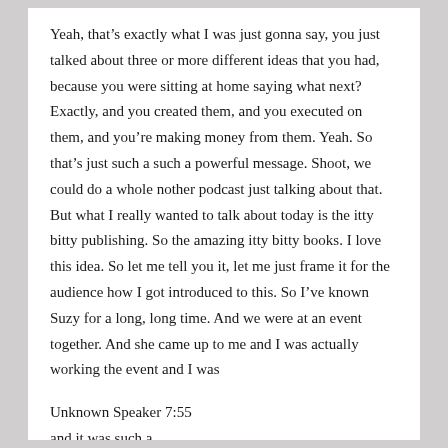Yeah, that's exactly what I was just gonna say, you just talked about three or more different ideas that you had, because you were sitting at home saying what next? Exactly, and you created them, and you executed on them, and you're making money from them. Yeah. So that's just such a such a powerful message. Shoot, we could do a whole nother podcast just talking about that. But what I really wanted to talk about today is the itty bitty publishing. So the amazing itty bitty books. I love this idea. So let me tell you it, let me just frame it for the audience how I got introduced to this. So I've known Suzy for a long, long time. And we were at an event together. And she came up to me and I was actually working the event and I was
Unknown Speaker 7:55
and it was such a